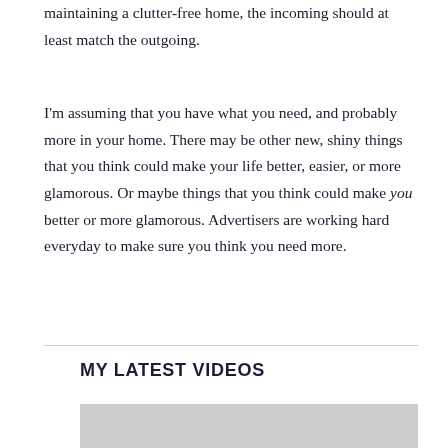maintaining a clutter-free home, the incoming should at least match the outgoing.
I'm assuming that you have what you need, and probably more in your home. There may be other new, shiny things that you think could make your life better, easier, or more glamorous. Or maybe things that you think could make you better or more glamorous. Advertisers are working hard everyday to make sure you think you need more.
MY LATEST VIDEOS
[Figure (photo): Video thumbnail placeholder — grey rectangle]